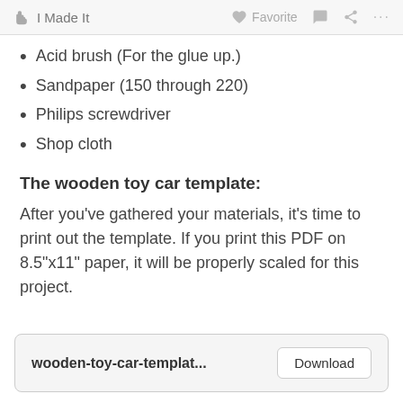I Made It   Favorite   ...
Acid brush (For the glue up.)
Sandpaper (150 through 220)
Philips screwdriver
Shop cloth
The wooden toy car template:
After you've gathered your materials, it's time to print out the template. If you print this PDF on 8.5"x11" paper, it will be properly scaled for this project.
wooden-toy-car-templat...   Download